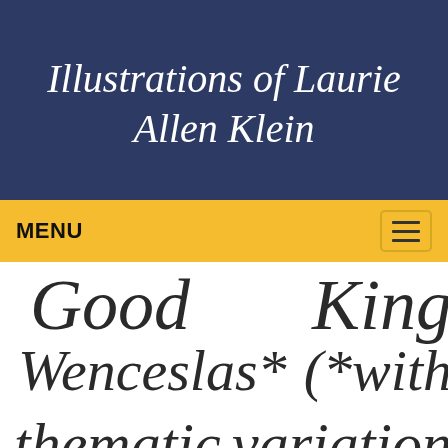Illustrations of Laurie Allen Klein
MENU
Good King Wenceslas* (*with thematic variation